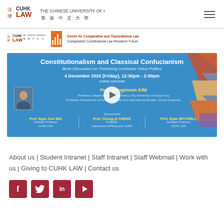CUHK LAW — THE CHINESE UNIVERSITY OF HONG KONG 香港中文大學
[Figure (screenshot): CUHK Law school branding banner with small logos for CUHK Law and Centre for Comparative and Transnational Law — Comparative Constitutional Law Research Forum]
[Figure (screenshot): Event poster for 'Constitutionalism and Classical Confucianism — Book Discussion on Theorizing Confucian Virtue Politics', 4 December 2020 (Friday), 12:30pm - 2:00pm, online seminar. Speaker: Prof. Sangmoon KIM, Professor Department of Public Policy, City University of Hong Kong; Professor Department of Political Science and International Studies, Yonsei University. Discussants: Prof. Ngoc Son BUI (Assistant Professor, CUHK LAW), Prof. Chung-yi CHENG (Professor, Department of Philosophy, CUHK), Prof. Ryan MITCHELL (Assistant Professor, CUHK LAW).]
About us | Student Intranet | Staff Intranet | Staff Webmail | Work with us | Giving to CUHK LAW | Contact us
[Figure (screenshot): Social media icons: Facebook, Twitter, LinkedIn, YouTube — all in dark red/maroon color]